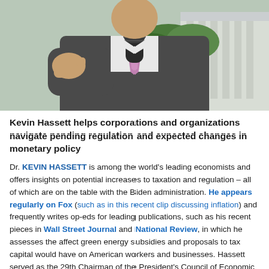[Figure (photo): Photo of a man in a grey suit and pink/purple tie speaking into a microphone outdoors, with a white building with columns visible in the background]
Kevin Hassett helps corporations and organizations navigate pending regulation and expected changes in monetary policy
Dr. KEVIN HASSETT is among the world's leading economists and offers insights on potential increases to taxation and regulation – all of which are on the table with the Biden administration. He appears regularly on Fox (such as in this recent clip discussing inflation) and frequently writes op-eds for leading publications, such as his recent pieces in Wall Street Journal and National Review, in which he assesses the affect green energy subsidies and proposals to tax capital would have on American workers and businesses. Hassett served as the 29th Chairman of the President's Council of Economic Advisers from 2017 through 2019, and was a key force driving internal and external debate on virtually every economic topic, from